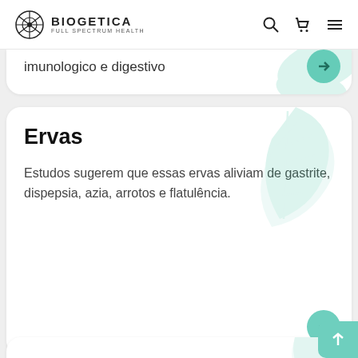BIOGETICA FULL SPECTRUM HEALTH
imunologico e digestivo
Ervas
Estudos sugerem que essas ervas aliviam de gastrite, dispepsia, azia, arrotos e flatulência.
Homeopatia de Ressonância
Esses homeopáticos podem aliviar sintomas